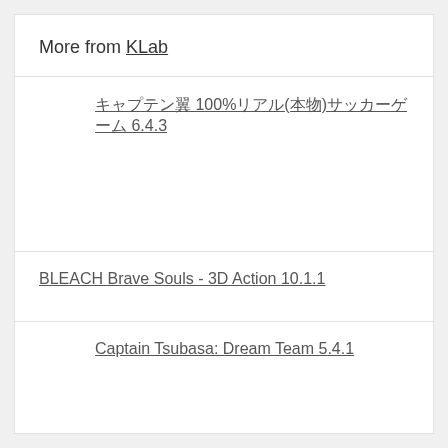More from KLab
キャプテン翼 100%リアル(本物)サッカーゲーム 6.4.3
BLEACH Brave Souls - 3D Action 10.1.1
Captain Tsubasa: Dream Team 5.4.1